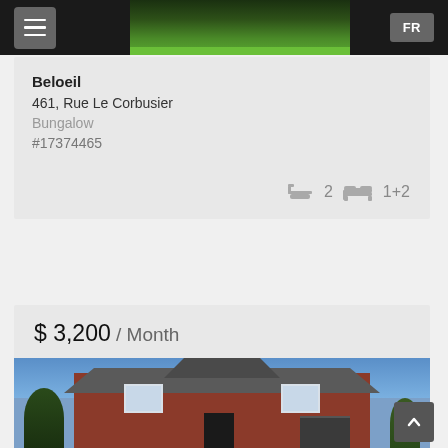FR
[Figure (photo): Navigation bar with hamburger menu icon and FR language toggle, dark background with grass/lawn photo in center]
Beloeil
461, Rue Le Corbusier
Bungalow
#17374465
2  1+2
$ 3,200 / Month
[Figure (photo): Two-story red brick house with grey roof, white-trimmed windows, dark front door, attached garage, trees on either side, blue sky background]